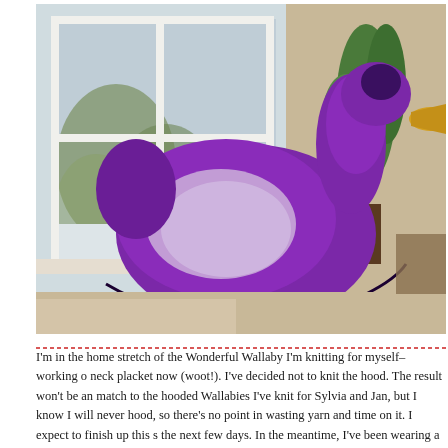[Figure (photo): A purple stuffed bird toy (resembling a pigeon or dove) with a lavender wing patch and yellow beak, sitting on a beige surface near a window. Green plants are visible in the background, and a wintry outdoor scene is visible through the white-framed window.]
I'm in the home stretch of the Wonderful Wallaby I'm knitting for myself–working on the neck placket now (woot!). I've decided not to knit the hood. The result won't be an exact match to the hooded Wallabies I've knit for Sylvia and Jan, but I know I will never wear the hood, so there's no point in wasting yarn and time on it. I expect to finish up this sweater in the next few days. In the meantime, I've been wearing a sweater that I finished du